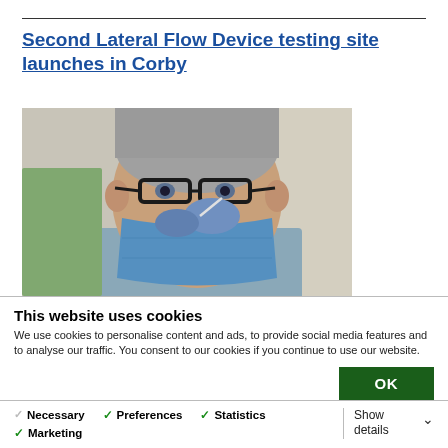Second Lateral Flow Device testing site launches in Corby
[Figure (photo): An elderly man wearing glasses and a blue face mask lowered below his nose, while a healthcare worker in blue gloves administers a nasal swab COVID test.]
This website uses cookies
We use cookies to personalise content and ads, to provide social media features and to analyse our traffic. You consent to our cookies if you continue to use our website.